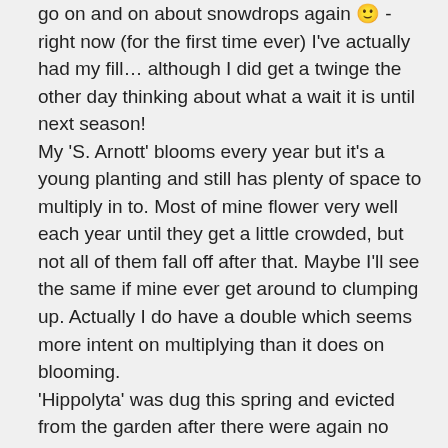go on and on about snowdrops again 🙂 - right now (for the first time ever) I've actually had my fill… although I did get a twinge the other day thinking about what a wait it is until next season! My 'S. Arnott' blooms every year but it's a young planting and still has plenty of space to multiply in to. Most of mine flower very well each year until they get a little crowded, but not all of them fall off after that. Maybe I'll see the same if mine ever get around to clumping up. Actually I do have a double which seems more intent on multiplying than it does on blooming. 'Hippolyta' was dug this spring and evicted from the garden after there were again no blooms on a fairly thick clump.